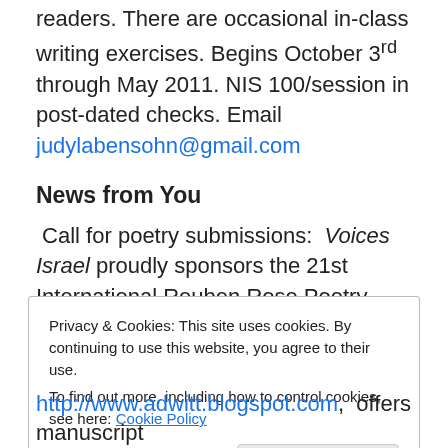readers. There are occasional in-class writing exercises. Begins October 3rd through May 2011. NIS 100/session in post-dated checks. Email judylabensohn@gmail.com
News from You
Call for poetry submissions: Voices Israel proudly sponsors the 21st International Reuben Rose Poetry Contest to be judged by Seymour Mayne. Prizes up to $500. Entry fee. Deadline Oct. 1. Details: http://www.freewebs.com/voicesisrael/
Privacy & Cookies: This site uses cookies. By continuing to use this website, you agree to their use.
To find out more, including how to control cookies, see here: Cookie Policy
[Close and accept]
http://www.adwitt.blogspot.com, offers manuscript